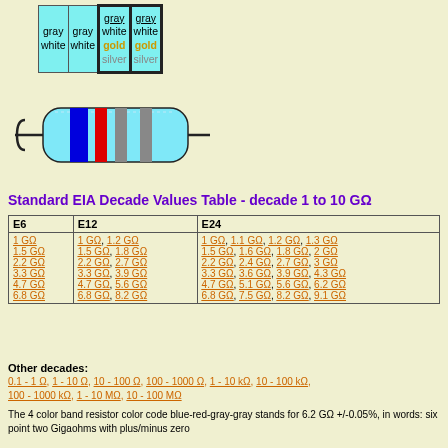[Figure (other): Color band resistor code table with four columns showing gray/white/gold/silver bands in cyan cells, two with black outline borders]
[Figure (illustration): Resistor illustration showing colored bands: blue, red, gray, gray on cyan body]
Standard EIA Decade Values Table - decade 1 to 10 GΩ
| E6 | E12 | E24 |
| --- | --- | --- |
| 1 GΩ | 1 GΩ, 1.2 GΩ | 1 GΩ, 1.1 GΩ, 1.2 GΩ, 1.3 GΩ |
| 1.5 GΩ | 1.5 GΩ, 1.8 GΩ | 1.5 GΩ, 1.6 GΩ, 1.8 GΩ, 2 GΩ |
| 2.2 GΩ | 2.2 GΩ, 2.7 GΩ | 2.2 GΩ, 2.4 GΩ, 2.7 GΩ, 3 GΩ |
| 3.3 GΩ | 3.3 GΩ, 3.9 GΩ | 3.3 GΩ, 3.6 GΩ, 3.9 GΩ, 4.3 GΩ |
| 4.7 GΩ | 4.7 GΩ, 5.6 GΩ | 4.7 GΩ, 5.1 GΩ, 5.6 GΩ, 6.2 GΩ |
| 6.8 GΩ | 6.8 GΩ, 8.2 GΩ | 6.8 GΩ, 7.5 GΩ, 8.2 GΩ, 9.1 GΩ |
Other decades: 0.1 - 1 Ω, 1 - 10 Ω, 10 - 100 Ω, 100 - 1000 Ω, 1 - 10 kΩ, 10 - 100 kΩ, 100 - 1000 kΩ, 1 - 10 MΩ, 10 - 100 MΩ
The 4 color band resistor color code blue-red-gray-gray stands for 6.2 GΩ +/-0.05%, in words: six point two Gigaohms with plus/minus zero point five percent.